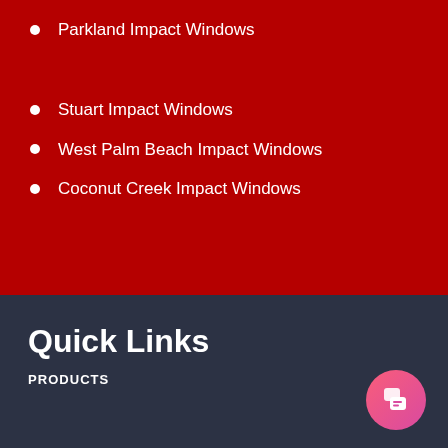Parkland Impact Windows
Stuart Impact Windows
West Palm Beach Impact Windows
Coconut Creek Impact Windows
Quick Links
PRODUCTS